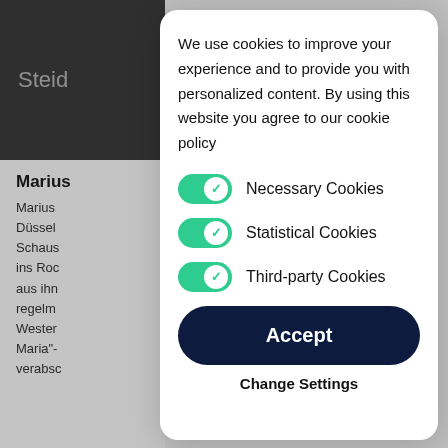Steid
Marius
Marius Düssel Schaus ins Roc aus ihn regelm Wester Maria"- verabsc
We use cookies to improve your experience and to provide you with personalized content. By using this website you agree to our cookie policy
Necessary Cookies
Statistical Cookies
Third-party Cookies
Accept
Change Settings